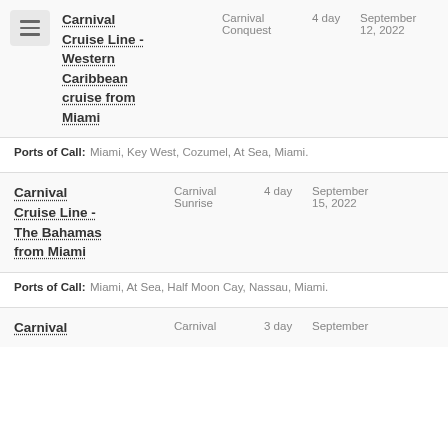Carnival Cruise Line - Western Caribbean cruise from Miami | Carnival Conquest | 4 day | September 12, 2022
Ports of Call: Miami, Key West, Cozumel, At Sea, Miami.
Carnival Cruise Line - The Bahamas from Miami | Carnival Sunrise | 4 day | September 15, 2022
Ports of Call: Miami, At Sea, Half Moon Cay, Nassau, Miami.
Carnival | Carnival | 3 day | September